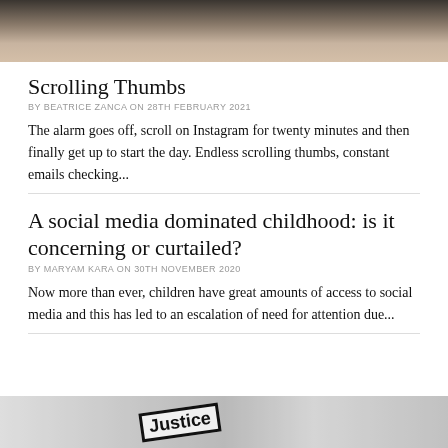[Figure (photo): Top cropped photo of a person using a laptop, warm tones]
Scrolling Thumbs
BY BEATRICE ZANCA ON 28TH FEBRUARY 2021
The alarm goes off, scroll on Instagram for twenty minutes and then finally get up to start the day. Endless scrolling thumbs, constant emails checking...
A social media dominated childhood: is it concerning or curtailed?
BY MARYAM KARA ON 30TH NOVEMBER 2020
Now more than ever, children have great amounts of access to social media and this has led to an escalation of need for attention due...
[Figure (photo): Bottom cropped black and white photo showing a Justice sign and hands at a protest]